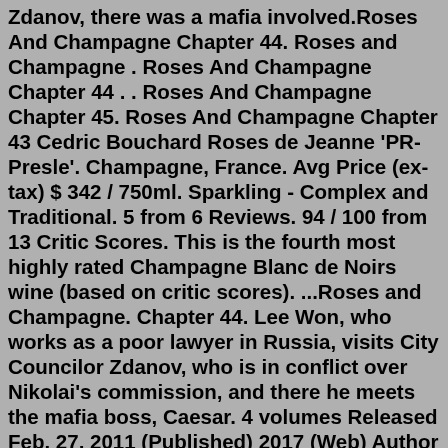Zdanov, there was a mafia involved.Roses And Champagne Chapter 44. Roses and Champagne . Roses And Champagne Chapter 44 . . Roses And Champagne Chapter 45. Roses And Champagne Chapter 43 Cedric Bouchard Roses de Jeanne 'PR-Presle'. Champagne, France. Avg Price (ex-tax) $ 342 / 750ml. Sparkling - Complex and Traditional. 5 from 6 Reviews. 94 / 100 from 13 Critic Scores. This is the fourth most highly rated Champagne Blanc de Noirs wine (based on critic scores). ...Roses and Champagne. Chapter 44. Lee Won, who works as a poor lawyer in Russia, visits City Councilor Zdanov, who is in conflict over Nikolai's commission, and there he meets the mafia boss, Caesar. 4 volumes Released Feb. 27, 2011 (Published) 2017 (Web) Author ZIG Roses and Champagne is a completed novel written by ZIG that was first published in 2011 as a physical copy and was published later on by Yomi Books in Ridibooks on 2017 as a web novel. It has been adapted into a manhwa which was illustrated by Ttung Gae Alt title: Bara to Champagne. Katrina is